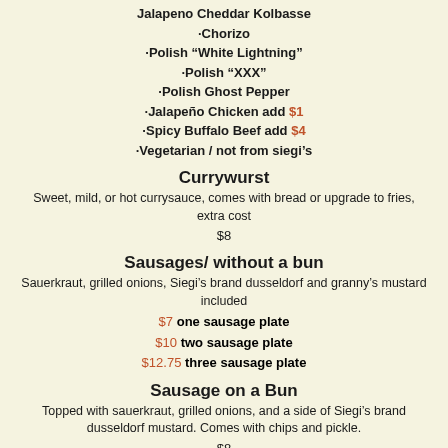Jalapeno Cheddar Kolbasse
·Chorizo
·Polish "White Lightning"
·Polish "XXX"
·Polish Ghost Pepper
·Jalapeño Chicken add $1
·Spicy Buffalo Beef add $4
·Vegetarian / not from siegi's
Currywurst
Sweet, mild, or hot currysauce, comes with bread or upgrade to fries, extra cost
$8
Sausages/ without a bun
Sauerkraut, grilled onions, Siegi's brand dusseldorf and granny's mustard included
$7  one sausage plate
$10  two sausage plate
$12.75  three sausage plate
Sausage on a Bun
Topped with sauerkraut, grilled onions, and a side of Siegi's brand dusseldorf mustard. Comes with chips and pickle.
$8
Schnitzel
All Schnitzels are fried golden brown and come on a plate with two original